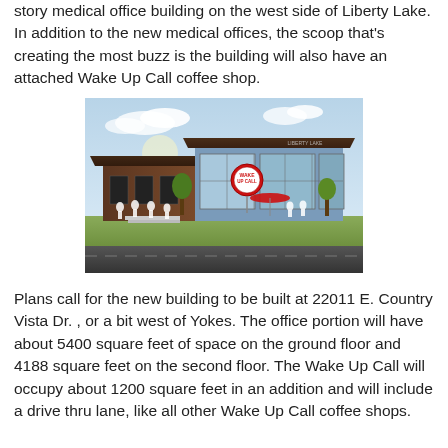story medical office building on the west side of Liberty Lake. In addition to the new medical offices, the scoop that's creating the most buzz is the building will also have an attached Wake Up Call coffee shop.
[Figure (illustration): Architectural rendering of a modern single-story building with wood and glass facade, featuring a Wake Up Call coffee shop sign, red umbrella, and silhouetted people in front.]
Plans call for the new building to be built at 22011 E. Country Vista Dr. , or a bit west of Yokes. The office portion will have about 5400 square feet of space on the ground floor and 4188 square feet on the second floor. The Wake Up Call will occupy about 1200 square feet in an addition and will include a drive thru lane, like all other Wake Up Call coffee shops.